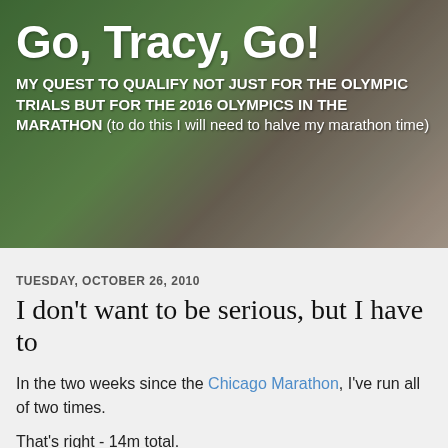Go, Tracy, Go!
MY QUEST TO QUALIFY NOT JUST FOR THE OLYMPIC TRIALS BUT FOR THE 2016 OLYMPICS IN THE MARATHON (to do this I will need to halve my marathon time)
TUESDAY, OCTOBER 26, 2010
I don't want to be serious, but I have to
In the two weeks since the Chicago Marathon, I've run all of two times.
That's right - 14m total.
I haven't even worn my Chicago t-shirt yet.
That race defeated me.  I knew I wasn't fully trained, and I